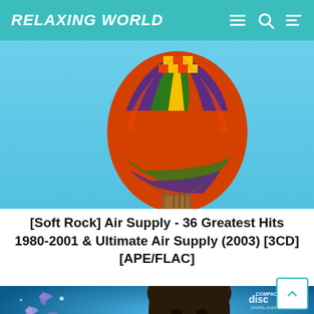RELAXING WORLD
[Figure (photo): Album cover for Air Supply 36 Greatest Hits - shows a colorful hot air balloon (red, orange, yellow, green, purple) against a blue sky with the word 'forever' in cursive script]
[Soft Rock] Air Supply - 36 Greatest Hits 1980-2001 & Ultimate Air Supply (2003) [3CD] [APE/FLAC]
[Figure (photo): Album cover showing a young Asian woman with dark hair against a blue background with decorative leaf/star shapes, with a compact disc digital audio logo in the upper right corner]